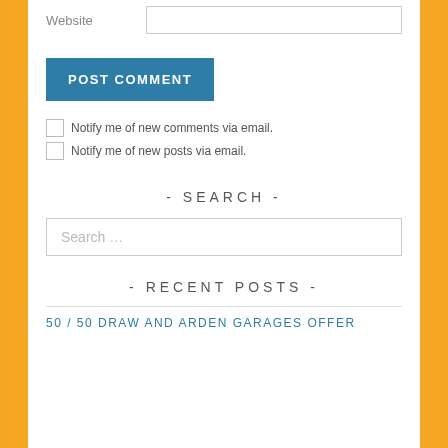Website
POST COMMENT
Notify me of new comments via email.
Notify me of new posts via email.
- SEARCH -
Search …
- RECENT POSTS -
50 / 50 DRAW AND ARDEN GARAGES OFFER